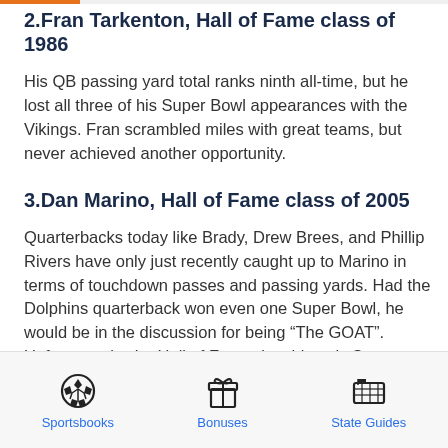2.Fran Tarkenton, Hall of Fame class of 1986
His QB passing yard total ranks ninth all-time, but he lost all three of his Super Bowl appearances with the Vikings. Fran scrambled miles with great teams, but never achieved another opportunity.
3.Dan Marino, Hall of Fame class of 2005
Quarterbacks today like Brady, Drew Brees, and Phillip Rivers have only just recently caught up to Marino in terms of touchdown passes and passing yards. Had the Dolphins quarterback won even one Super Bowl, he would be in the discussion for being “The GOAT”. Unfortunately, the Hall of Famer lost his only Super Bowl game and never got
Sportsbooks   Bonuses   State Guides